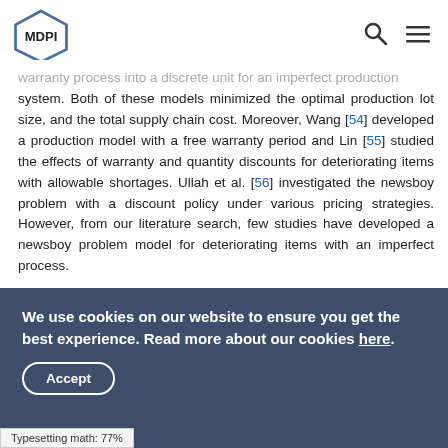MDPI
warranty process into a discrete unit for an imperfect production system. Both of these models minimized the optimal production lot size, and the total supply chain cost. Moreover, Wang [54] developed a production model with a free warranty period and Lin [55] studied the effects of warranty and quantity discounts for deteriorating items with allowable shortages. Ullah et al. [56] investigated the newsboy problem with a discount policy under various pricing strategies. However, from our literature search, few studies have developed a newsboy problem model for deteriorating items with an imperfect process.
2. Problem Description, Assumptions, and Notation
In this section, the problem description of the proposed
We use cookies on our website to ensure you get the best experience. Read more about our cookies here.
Accept
Typesetting math: 77%